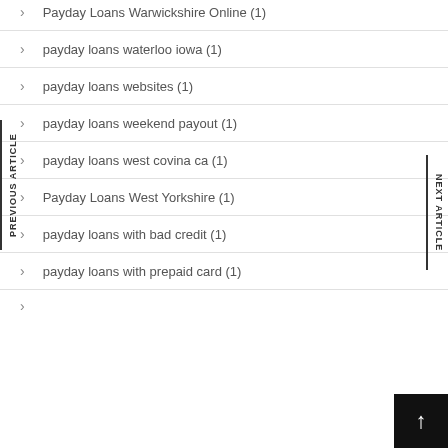Payday Loans Warwickshire Online (1)
payday loans waterloo iowa (1)
payday loans websites (1)
payday loans weekend payout (1)
payday loans west covina ca (1)
Payday Loans West Yorkshire (1)
payday loans with bad credit (1)
payday loans with prepaid card (1)